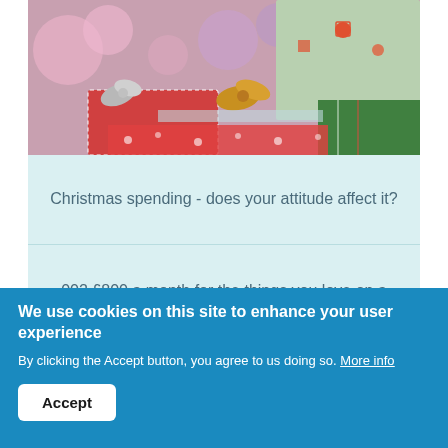[Figure (photo): Christmas gifts wrapped in festive paper with bows, surrounded by bokeh lights in the background]
Christmas spending - does your attitude affect it?
002 £800 a month for the things you love on a teaching salary
[Figure (photo): Partial image strip below card rows]
We use cookies on this site to enhance your user experience
By clicking the Accept button, you agree to us doing so. More info
Accept